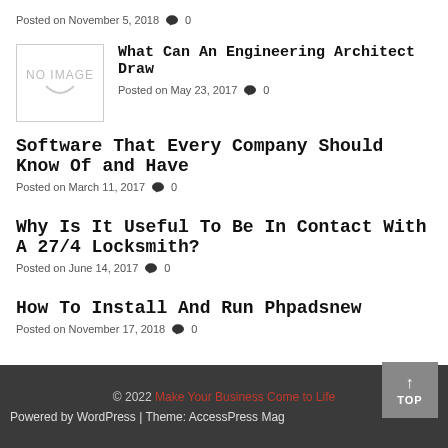Posted on November 5, 2018  🗨 0
[Figure (other): No image placeholder box with smile icon]
What Can An Engineering Architect Draw
Posted on May 23, 2017  🗨 0
Software That Every Company Should Know Of and Have
Posted on March 11, 2017  🗨 0
Why Is It Useful To Be In Contact With A 27/4 Locksmith?
Posted on June 14, 2017  🗨 0
How To Install And Run Phpadsnew
Posted on November 17, 2018  🗨 0
© 2022 Make Your Business Come to Life
Powered by WordPress | Theme: AccessPress Mag